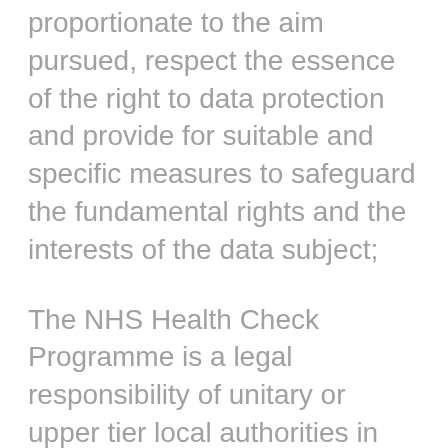proportionate to the aim pursued, respect the essence of the right to data protection and provide for suitable and specific measures to safeguard the fundamental rights and the interests of the data subject;
The NHS Health Check Programme is a legal responsibility of unitary or upper tier local authorities in England as per Local Authorities (Public Health